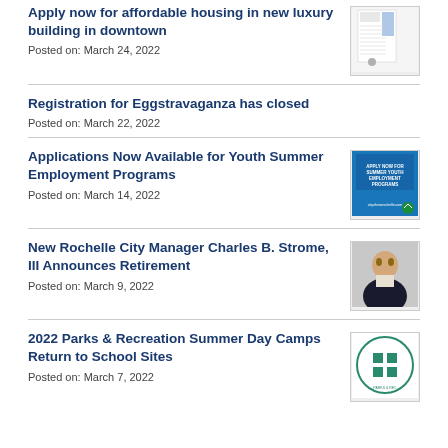Apply now for affordable housing in new luxury building in downtown
Posted on: March 24, 2022
Registration for Eggstravaganza has closed
Posted on: March 22, 2022
Applications Now Available for Youth Summer Employment Programs
Posted on: March 14, 2022
New Rochelle City Manager Charles B. Strome, III Announces Retirement
Posted on: March 9, 2022
2022 Parks & Recreation Summer Day Camps Return to School Sites
Posted on: March 7, 2022